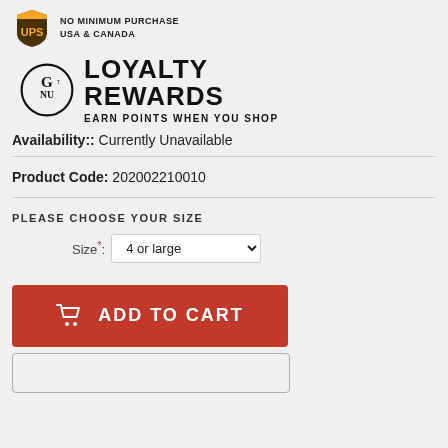[Figure (logo): UPS logo (shield shape, brown/gold) with text 'NO MINIMUM PURCHASE' and 'USA & CANADA']
[Figure (logo): Loyalty Rewards logo: decorative G/N/U monogram with 'LOYALTY REWARDS' and 'EARN POINTS WHEN YOU SHOP']
Availability:: Currently Unavailable
Product Code: 202002210010
PLEASE CHOOSE YOUR SIZE
Size*: 4 or large
ADD TO CART